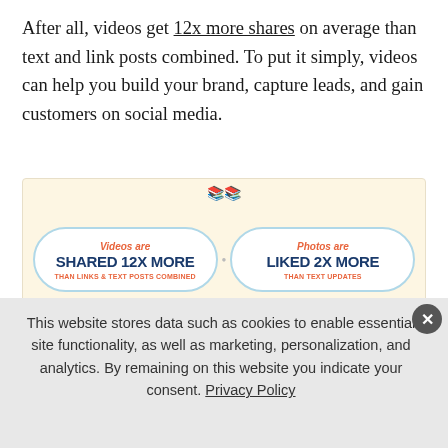After all, videos get 12x more shares on average than text and link posts combined. To put it simply, videos can help you build your brand, capture leads, and gain customers on social media.
[Figure (infographic): Infographic showing two cloud-shaped speech bubbles on a cream background. Left: 'Videos are SHARED 12X MORE THAN LINKS & TEXT POSTS COMBINED'. Right: 'Photos are LIKED 2X MORE THAN TEXT UPDATES'.]
But there' is one significant challenge to video marketing for most businesses: how do you create great social
This website stores data such as cookies to enable essential site functionality, as well as marketing, personalization, and analytics. By remaining on this website you indicate your consent. Privacy Policy